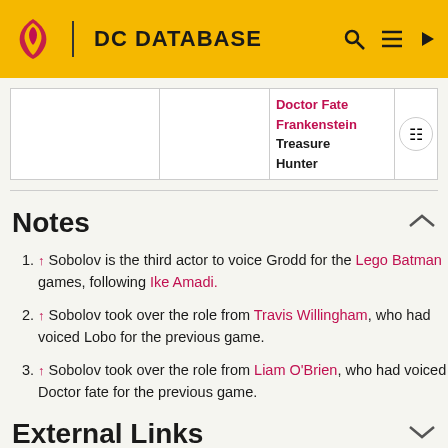DC DATABASE
|  |  | Doctor Fate
Frankenstein
Treasure Hunter |
Notes
↑ Sobolov is the third actor to voice Grodd for the Lego Batman games, following Ike Amadi.
↑ Sobolov took over the role from Travis Willingham, who had voiced Lobo for the previous game.
↑ Sobolov took over the role from Liam O'Brien, who had voiced Doctor fate for the previous game.
External Links